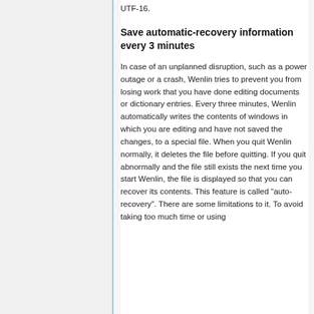UTF-16.
Save automatic-recovery information every 3 minutes
In case of an unplanned disruption, such as a power outage or a crash, Wenlin tries to prevent you from losing work that you have done editing documents or dictionary entries. Every three minutes, Wenlin automatically writes the contents of windows in which you are editing and have not saved the changes, to a special file. When you quit Wenlin normally, it deletes the file before quitting. If you quit abnormally and the file still exists the next time you start Wenlin, the file is displayed so that you can recover its contents. This feature is called “auto-recovery”. There are some limitations to it. To avoid taking too much time or using